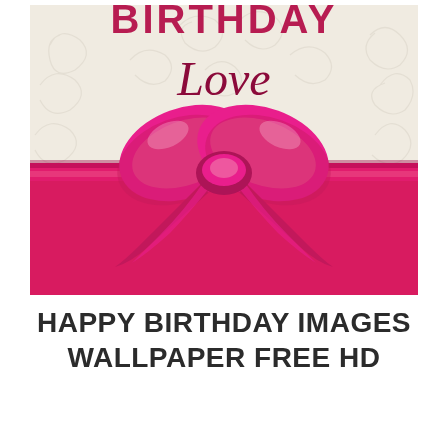[Figure (illustration): A birthday card illustration featuring a cream/beige background with decorative floral swirl patterns. At the top, partially cropped text reads 'BIRTHDAY' in large bold dark pink/crimson letters. Below that, cursive script reads 'Love' in dark crimson. A large pink/hot-pink satin ribbon bow is centered on the card, with a wide pink satin ribbon band running horizontally across the lower portion of the card.]
HAPPY BIRTHDAY IMAGES WALLPAPER FREE HD